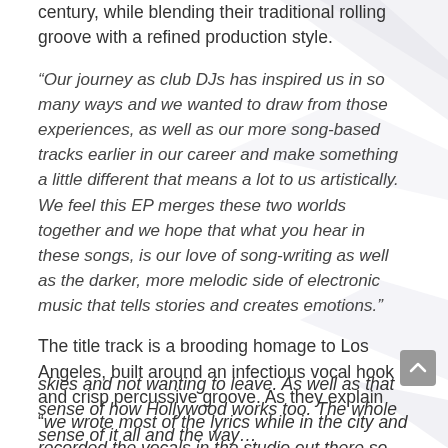century, while blending their trademark rolling groove with a refined production style.
“Our journey as club DJs has inspired us in so many ways and we wanted to draw from those experiences, as well as our more song-based tracks earlier in our career and make something a little different that means a lot to us artistically. We feel this EP merges these two worlds together and we hope that what you hear in these songs, is our love of song-writing as well as the darker, more melodic side of electronic music that tells stories and creates emotions.”
The title track is a brooding homage to Los Angeles, built around an infectious vocal hook and crisp percussive groove. As they explain “we wrote most of the lyrics while in the city and recorded the vocals in the studio out there so listening to it really takes us back. The smell, the lights, the skies and not wanting to leave. As well as that sense of how Hollywood works too. The whole sense of it all and the way...